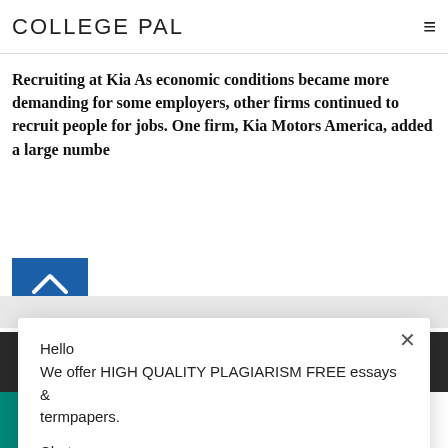product is vital to the sale of an extremely profitable...
COLLEGE PAL
Recruiting at Kia As economic conditions became more demanding for some employers, other firms continued to recruit people for jobs. One firm, Kia Motors America, added a large numbe
[Figure (other): Blue scroll-to-top button with white chevron/caret pointing upward]
Hello
We offer HIGH QUALITY PLAGIARISM FREE essays & termpapers.

Chat...
All Rights Reserved Terms and Conditions
Policy 2010-2018
Chat Here